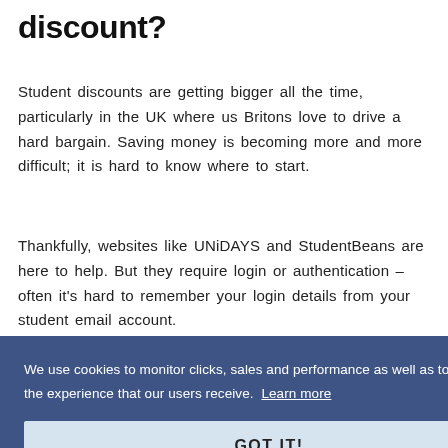discount?
Student discounts are getting bigger all the time, particularly in the UK where us Britons love to drive a hard bargain. Saving money is becoming more and more difficult; it is hard to know where to start.
Thankfully, websites like UNiDAYS and StudentBeans are here to help. But they require login or authentication – often it's hard to remember your login details from your student email account.
We use cookies to monitor clicks, sales and performance as well as to optimise & improve the experience that our users receive. Learn more
GOT IT!
Does Dr brandt work with